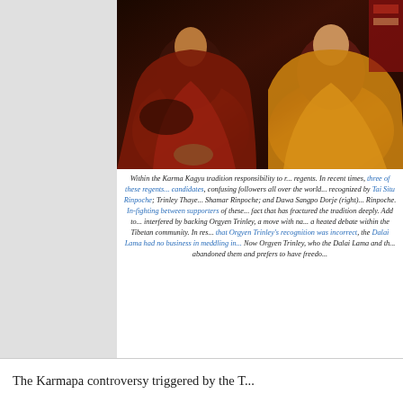[Figure (photo): Two Tibetan Buddhist monks in robes seated side by side. The monk on the left wears dark red/maroon robes, the monk on the right wears yellow/golden robes.]
Within the Karma Kagyu tradition responsibility to r... regents. In recent times, three of these regents... candidates, confusing followers all over the world... recognized by Tai Situ Rinpoche; Trinley Thaye... Shamar Rinpoche; and Dawa Sangpo Dorje (right)... Rinpoche. In-fighting between supporters of these... fact that has fractured the tradition deeply. Add to... interfered by backing Orgyen Trinley, a move with na... a heated debate within the Tibetan community. In res... that Orgyen Trinley's recognition was incorrect,... the Dalai Lama had no business in meddling in... Now Orgyen Trinley, who the Dalai Lama and th... abandoned them and prefers to have freedo...
The Karmapa controversy triggered by the T...